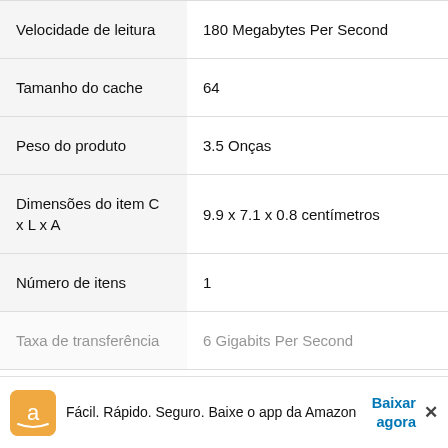| Atributo | Valor |
| --- | --- |
| Velocidade de leitura | 180 Megabytes Per Second |
| Tamanho do cache | 64 |
| Peso do produto | 3.5 Onças |
| Dimensões do item C x L x A | 9.9 x 7.1 x 0.8 centímetros |
| Número de itens | 1 |
| Taxa de transferência | 6 Gigabits Per Second |
Fácil. Rápido. Seguro. Baixe o app da Amazon